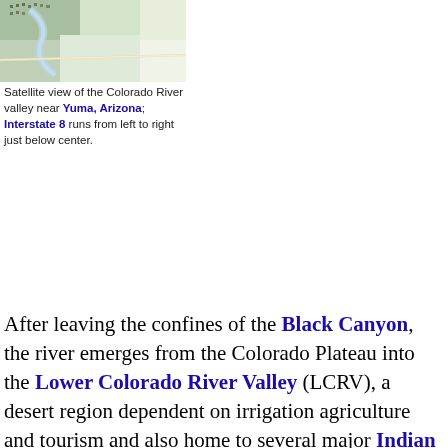[Figure (photo): Satellite view of the Colorado River valley near Yuma, Arizona. Interstate 8 runs from left to right just below center.]
Satellite view of the Colorado River valley near Yuma, Arizona; Interstate 8 runs from left to right just below center.
After leaving the confines of the Black Canyon, the river emerges from the Colorado Plateau into the Lower Colorado River Valley (LCRV), a desert region dependent on irrigation agriculture and tourism and also home to several major Indian reservations.[30] The river widens here to a broad, moderately deep waterway averaging 500 to 1,000 feet (150 to 300 m) wide and reaching up to 0.25 miles (400 m) across, with depths ranging from 8 to 60 feet (2 to 20 m).[31][32] Before channelization of the Colorado in the 20th century, the lower river was subject to frequent course changes caused by seasonal flow variations. Joseph C.